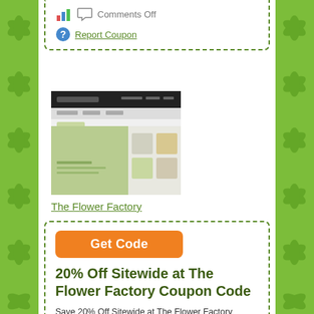Comments Off
Report Coupon
[Figure (screenshot): Screenshot of The Flower Factory website showing a light green product page]
The Flower Factory
Get Code
20% Off Sitewide at The Flower Factory Coupon Code
Save 20% Off Sitewide at The Flower Factory Coupon Code.... more ›
November 6, 2019
Category: Flowers
Comments Off